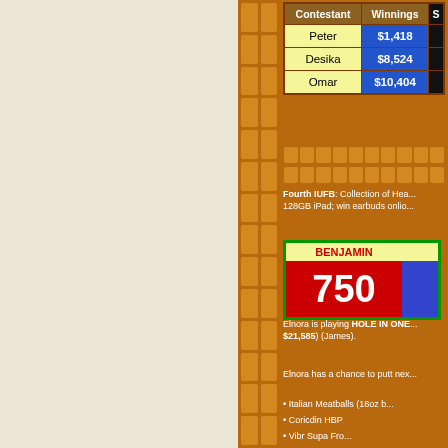| Contestant | Winnings | S |
| --- | --- | --- |
| Peter | $1,418 |  |
| Desika | $8,524 |  |
| Omar | $10,404 |  |
Fourth IUFB: Collection of Hea... 128GB iPad; win earbuds onlio...
[Figure (other): Scoreboard showing BENJAMIN with score 750 on red background, and a blue panel to the right]
Elnora is playing HOLE IN ONE... $21,585) (James).
Elnora has a chance to putt nex...
Italian Meatballs (18oz b...
Coricdin HBP
Vibr Supa Fro...